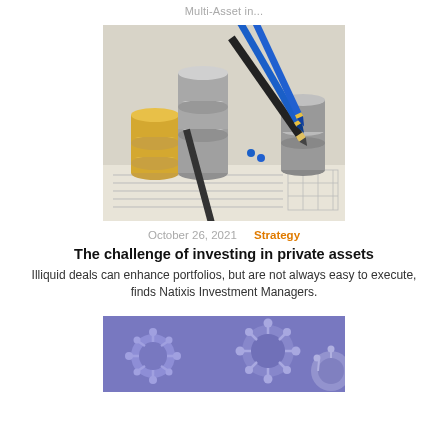Multi-Asset in...
[Figure (photo): Photo of stacked coins (gold and silver) and several blue and black pens resting on financial documents]
October 26, 2021   Strategy
The challenge of investing in private assets
Illiquid deals can enhance portfolios, but are not always easy to execute, finds Natixis Investment Managers.
[Figure (photo): Photo of purple/blue-toned coronavirus particles under microscope]